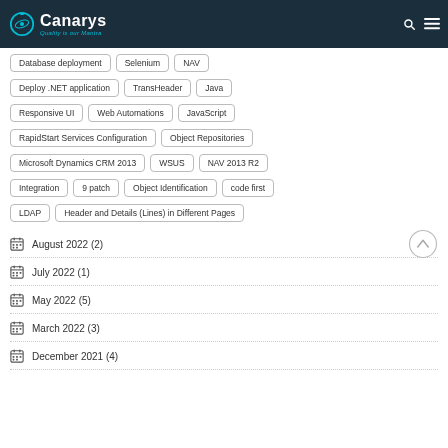Canarys — Quality is our Mantra
Database deployment
Selenium
NAV
Deploy .NET application
TransHeader
Java
Responsive UI
Web Automations
JavaScript
RapidStart Services Configuration
Object Repositories
Microsoft Dynamics CRM 2013
WSUS
NAV 2013 R2
Integration
9 patch
Object Identification
code first
LDAP
Header and Details (Lines) in Different Pages
August 2022 (2)
July 2022 (1)
May 2022 (5)
March 2022 (3)
December 2021 (4)